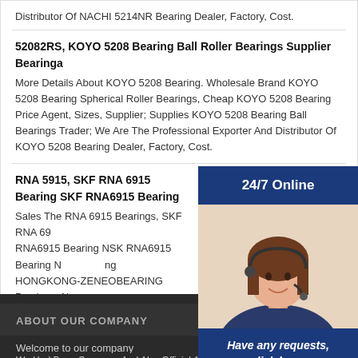Distributor Of NACHI 5214NR Bearing Dealer, Factory, Cost.
52082RS, KOYO 5208 Bearing Ball Roller Bearings Supplier Bearinga
More Details About KOYO 5208 Bearing. Wholesale Brand KOYO 5208 Bearing Spherical Roller Bearings, Cheap KOYO 5208 Bearing Price Agent, Sizes, Supplier; Supplies KOYO 5208 Bearing Ball Bearings Trader; We Are The Professional Exporter And Distributor Of KOYO 5208 Bearing Dealer, Factory, Cost.
RNA 5915, SKF RNA 6915 Bearing SKF RNA6915 Bearing
Sales The RNA 6915 Bearings, SKF RNA 69... RNA6915 Bearing NSK RNA6915 Bearing N... ng HONGKONG-ZENEOBEARING Previous: N...
[Figure (photo): Customer service agent with headset, with overlaid 24/7 Online banner, Have any requests click here text, and Quotation button]
ABOUT OUR COMPANY
Welcome to our company
We Had Been Company And Also Official Authorized Distributor For...